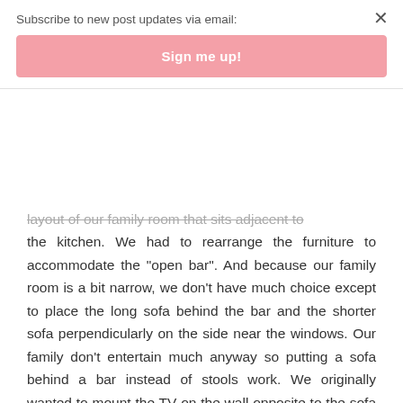Subscribe to new post updates via email:
Sign me up!
layout of our family room that sits adjacent to the kitchen. We had to rearrange the furniture to accommodate the "open bar". And because our family room is a bit narrow, we don't have much choice except to place the long sofa behind the bar and the shorter sofa perpendicularly on the side near the windows. Our family don't entertain much anyway so putting a sofa behind a bar instead of stools work. We originally wanted to mount the TV on the wall opposite to the sofa but then we realized the distance might be a bit too close after all (we have a 55" TV). So, then we decided that the farthest corner is the best spot. That way, we can watch the TV at the